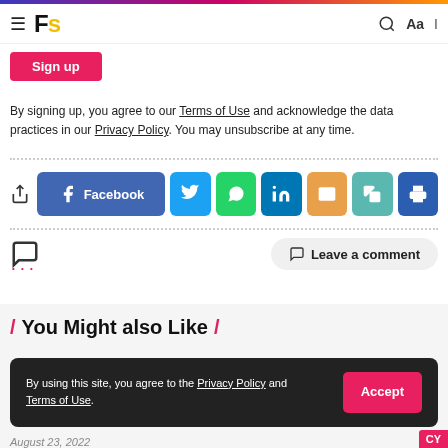Fs — navigation bar with search and font controls
Sign up
By signing up, you agree to our Terms of Use and acknowledge the data practices in our Privacy Policy. You may unsubscribe at any time.
[Figure (infographic): Social share buttons: Facebook, Twitter, WhatsApp, LinkedIn, Email, Copy, Print]
[Figure (infographic): Comment icon with dots and Leave a comment button]
/ You Might also Like /
By using this site, you agree to the Privacy Policy and Terms of Use.
August 23, 2022